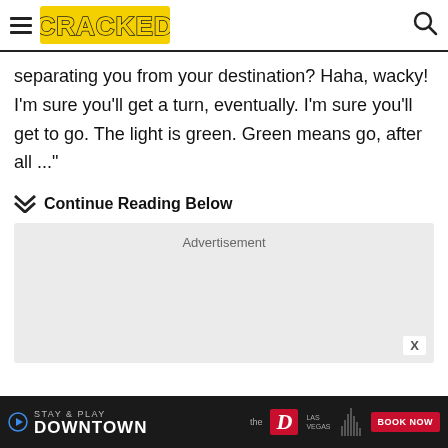CRACKED
separating you from your destination? Haha, wacky! I'm sure you'll get a turn, eventually. I'm sure you'll get to go. The light is green. Green means go, after all ..."
Continue Reading Below
[Figure (other): Advertisement placeholder box (gray background)]
[Figure (other): Bottom banner advertisement: STAY & PLAY DOWNTOWN with The D Las Vegas logo and BOOK NOW button]